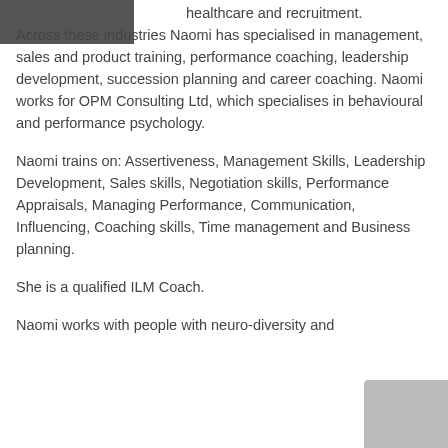[Figure (photo): Partial photo of a person in the top-left corner]
healthcare and recruitment. Across these industries Naomi has specialised in management, sales and product training, performance coaching, leadership development, succession planning and career coaching. Naomi works for OPM Consulting Ltd, which specialises in behavioural and performance psychology.
Naomi trains on: Assertiveness, Management Skills, Leadership Development, Sales skills, Negotiation skills, Performance Appraisals, Managing Performance, Communication, Influencing, Coaching skills, Time management and Business planning.
She is a qualified ILM Coach.
Naomi works with people with neuro-diversity and
[Figure (photo): Partial photo in the bottom-right corner]